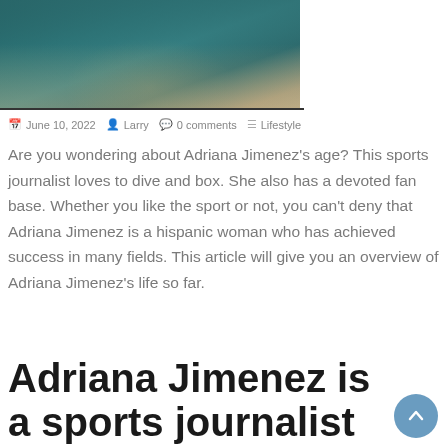[Figure (photo): Photo of Adriana Jimenez wearing a teal/green sports jersey, partial view cropped at the bottom of the frame]
June 10, 2022   Larry   0 comments   Lifestyle
Are you wondering about Adriana Jimenez's age? This sports journalist loves to dive and box. She also has a devoted fan base. Whether you like the sport or not, you can't deny that Adriana Jimenez is a hispanic woman who has achieved success in many fields. This article will give you an overview of Adriana Jimenez's life so far.
Adriana Jimenez is a sports journalist